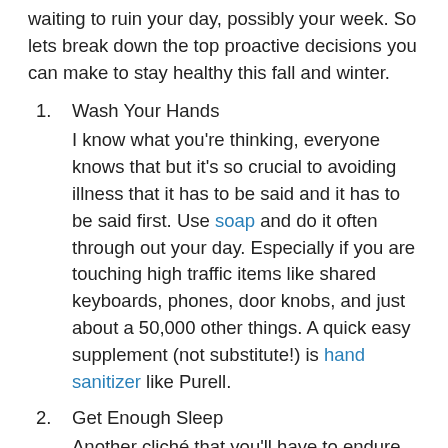waiting to ruin your day, possibly your week. So lets break down the top proactive decisions you can make to stay healthy this fall and winter.
1. Wash Your Hands
I know what you're thinking, everyone knows that but it's so crucial to avoiding illness that it has to be said and it has to be said first. Use soap and do it often through out your day. Especially if you are touching high traffic items like shared keyboards, phones, door knobs, and just about a 50,000 other things. A quick easy supplement (not substitute!) is hand sanitizer like Purell.
2. Get Enough Sleep
Another cliché that you'll have to endure hearing if you want the best possible results when it comes to your health. Sleeping is so easy to only take the bare minimum of